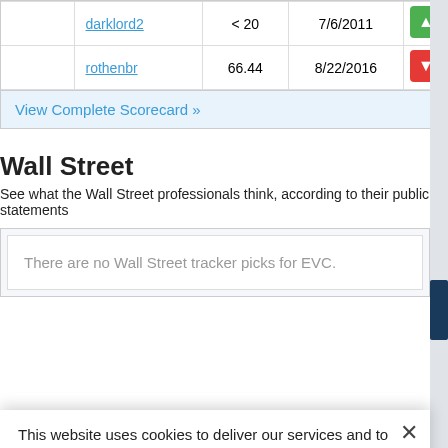|  | Username | Score | Date |  |
| --- | --- | --- | --- | --- |
|  | darklord2 | < 20 | 7/6/2011 | [thumbs up icon] |
|  | rothenbr | 66.44 | 8/22/2016 | [thumbs down icon] |
View Complete Scorecard »
Wall Street
See what the Wall Street professionals think, according to their public statements
There are no Wall Street tracker picks for EVC.
This website uses cookies to deliver our services and to analyze traffic. We also share information about your use of our site with advertising and other partners. Privacy Policy
Got it
Cookie Settings